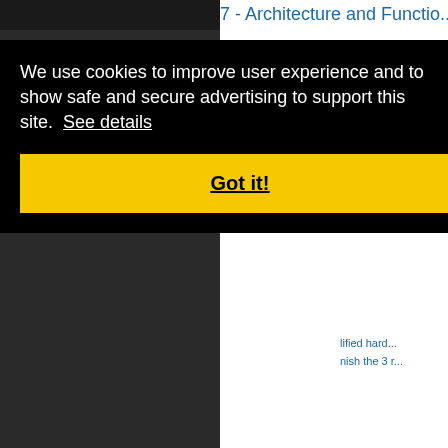7 - Architecture and Functio...
card and t...
h 3D cards...
h API is us...
n to examin...
lified hard...
nish the 3 r...
We use cookies to improve user experience and to show safe and secure advertising to support this site.  See details
Got it!
[Figure (engineering-diagram): Block diagram showing GPU architecture with Input arrow pointing to GPU block, bidirectional arrow to Memoire Vi... block, with additional arrows below]